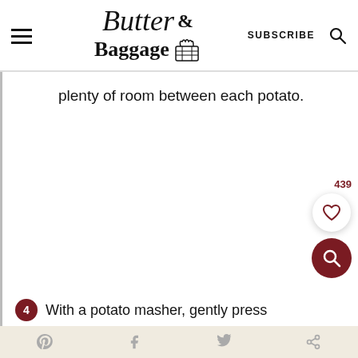Butter & Baggage — SUBSCRIBE
plenty of room between each potato.
439
4 With a potato masher, gently press